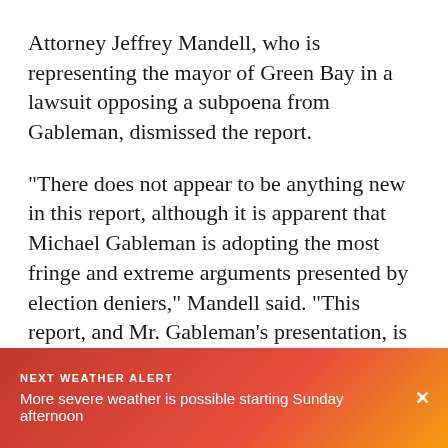Attorney Jeffrey Mandell, who is representing the mayor of Green Bay in a lawsuit opposing a subpoena from Gableman, dismissed the report.
"There does not appear to be anything new in this report, although it is apparent that Michael Gableman is adopting the most fringe and extreme arguments presented by election deniers," Mandell said. "This report, and Mr. Gableman's presentation, is an embarrassment. This process needs to come to a quick end."
Biden defeated Trump by just under 21,000 votes in
NEXT WEATHER ALERT
More severe weather is possible starting Sunday afternoon